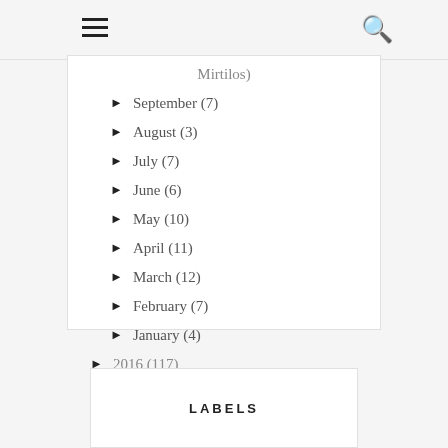☰  🔍
Mirtilos)
► September (7)
► August (3)
► July (7)
► June (6)
► May (10)
► April (11)
► March (12)
► February (7)
► January (4)
► 2016 (117)
LABELS